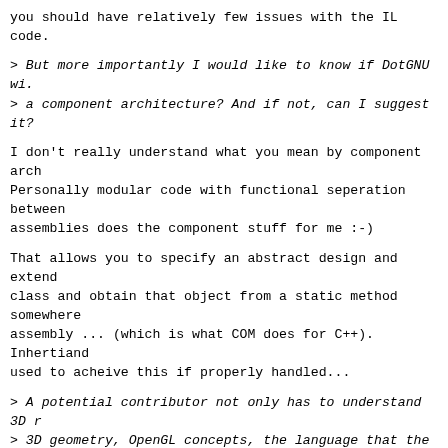you should have relatively few issues with the IL code.
> But more importantly I would like to know if DotGNU wi.
> a component architecture? And if not, can I suggest it?
I don't really understand what you mean by component arch
Personally modular code with functional seperation between
assemblies does the component stuff for me :-)
That allows you to specify an abstract design and extend
class and obtain that object from a static method somewhere
assembly ... (which is what COM does for C++). Inhertiand
used to acheive this if properly handled...
> A potential contributor not only has to understand 3D r
> 3D geometry, OpenGL concepts, the language that the pro
> written in, etc. but also this massive piece of softwa
Yow !! ..
> What I would like to build is a set of components with
> Perhaps a core component, which contributors can use a
> having to understand the internals of how it works. The
> core software and the additions can work as independent
I think you are on the right track here .... (Hey, I'm p
and design , but I know a good developer when I see it :-
For example I do not understand fully how the Portable.Ne
but I'm able to put a feature here and there (10-50 lines